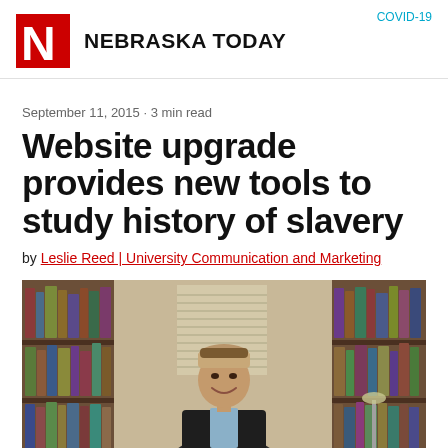NEBRASKA TODAY
COVID-19
September 11, 2015 · 3 min read
Website upgrade provides new tools to study history of slavery
by Leslie Reed | University Communication and Marketing
[Figure (photo): A man in a dark blazer smiling in an office or library setting, surrounded by bookshelves filled with books, with a window with blinds visible in the background.]